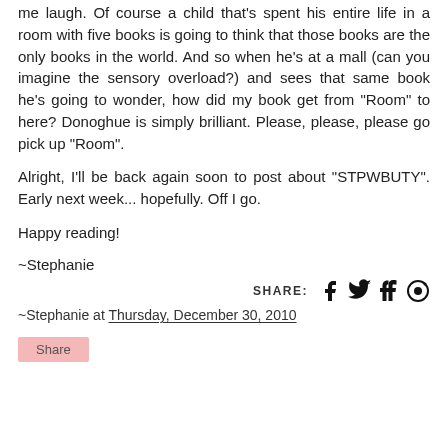me laugh. Of course a child that's spent his entire life in a room with five books is going to think that those books are the only books in the world. And so when he's at a mall (can you imagine the sensory overload?) and sees that same book he's going to wonder, how did my book get from "Room" to here? Donoghue is simply brilliant. Please, please, please go pick up "Room".
Alright, I'll be back again soon to post about "STPWBUTY". Early next week... hopefully. Off I go.
Happy reading!
~Stephanie
SHARE: [social icons: facebook, twitter, tumblr, pinterest]
~Stephanie at Thursday, December 30, 2010
Share